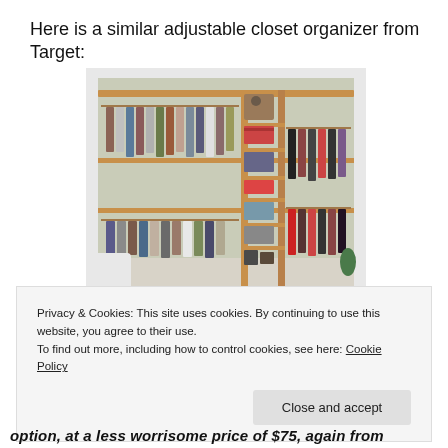Here is a similar adjustable closet organizer from Target:
[Figure (photo): Photo of an adjustable wooden closet organizer from Target, filled with hanging clothes on rods at top and bottom, shelves in the center column with folded items, and a second hanging section on the right side. The closet is set against a light green wall.]
Privacy & Cookies: This site uses cookies. By continuing to use this website, you agree to their use.
To find out more, including how to control cookies, see here: Cookie Policy
option, at a less worrisome price of $75, again from